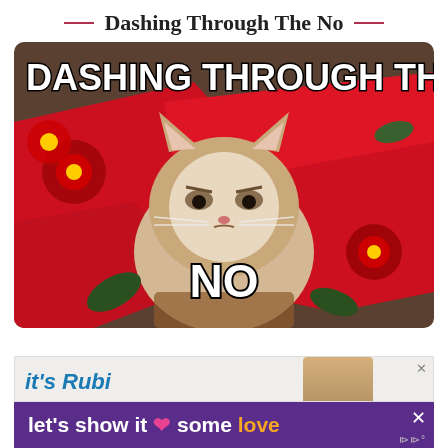Dashing Through The No
[Figure (illustration): Grumpy cat meme with Christmas decorations, poinsettias and red ribbon. Top text reads 'DASHING THROUGH THE', bottom text reads 'NO'.]
[Figure (screenshot): Advertisement banner at the bottom. Top portion shows partial text 'it's Rubi...' with a close X button. Bottom strip is purple/dark with text "let's show it some love" where 'love' is in orange/yellow and a pink heart emoji is shown.]